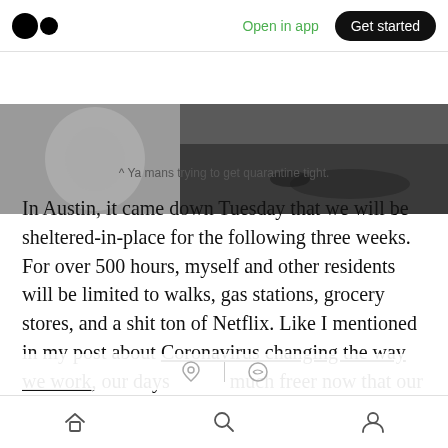Medium app header — Open in app | Get started
[Figure (photo): Partial photo of a person doing floor exercises in a dark room, with a fan visible in the background.]
^ Ya mans trying to get quarantine tight.
In Austin, it came down Tuesday that we will be sheltered-in-place for the following three weeks. For over 500 hours, myself and other residents will be limited to walks, gas stations, grocery stores, and a shit ton of Netflix. Like I mentioned in my post about Coronavirus changing the way we work, our days [are] much freer now that our options on [how to spend] them have
Bottom navigation bar with home, search, and profile icons.